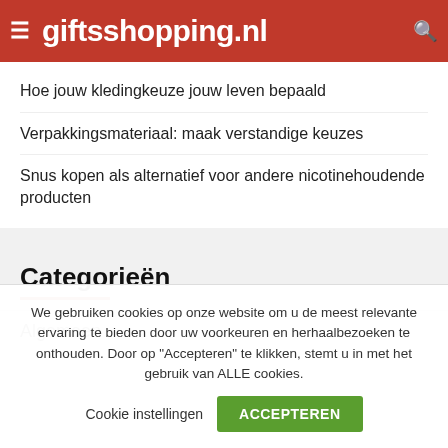giftsshopping.nl
Hoe jouw kledingkeuze jouw leven bepaald
Verpakkingsmateriaal: maak verstandige keuzes
Snus kopen als alternatief voor andere nicotinehoudende producten
Categorieën
Algemeen
We gebruiken cookies op onze website om u de meest relevante ervaring te bieden door uw voorkeuren en herhaalbezoeken te onthouden. Door op "Accepteren" te klikken, stemt u in met het gebruik van ALLE cookies.
Cookie instellingen   ACCEPTEREN